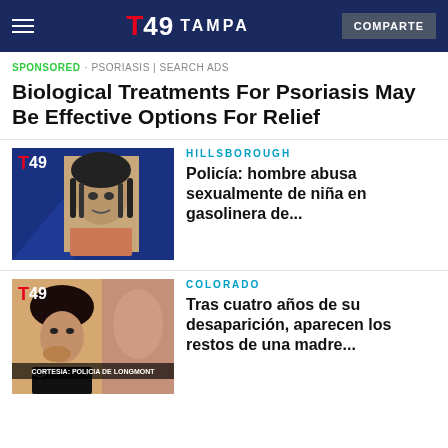Telemundo 49 Tampa | COMPARTE
SPONSORED · PSORIASIS | SEARCH ADS
Biological Treatments For Psoriasis May Be Effective Options For Relief
[Figure (photo): Telemundo 49 Tampa news card thumbnail for Hillsborough story featuring a mugshot of a man]
HILLSBOROUGH
Policía: hombre abusa sexualmente de niña en gasolinera de...
[Figure (photo): Telemundo 49 Tampa news card thumbnail for Colorado story featuring a woman looking distressed with caption CORTESIA: POLICIA DE LONGMONT]
COLORADO
Tras cuatro años de su desaparición, aparecen los restos de una madre...